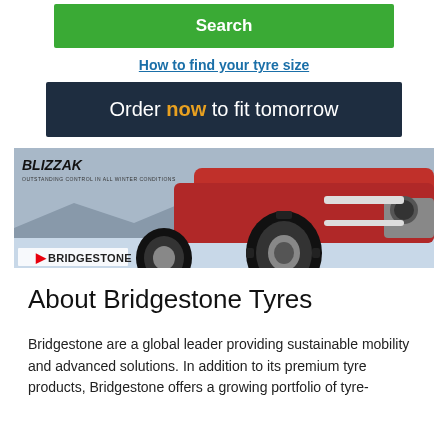Search
How to find your tyre size
Order now to fit tomorrow
[Figure (photo): Bridgestone Blizzak winter tyre advertisement showing a red SUV with a tyre in the foreground. Text reads: BLIZZAK OUTSTANDING CONTROL IN ALL WINTER CONDITIONS. Bridgestone logo at bottom left.]
About Bridgestone Tyres
Bridgestone are a global leader providing sustainable mobility and advanced solutions. In addition to its premium tyre products, Bridgestone offers a growing portfolio of tyre-